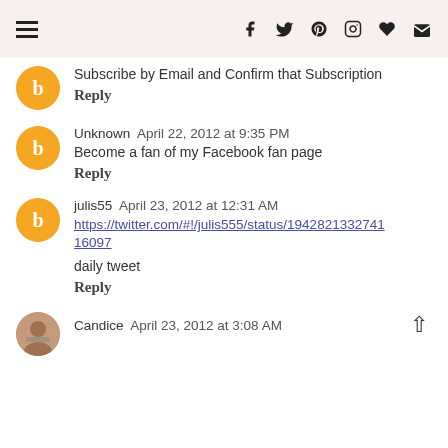Navigation header with menu icon and social icons: f (Facebook), Twitter, Pinterest, Instagram, heart, mail
Subscribe by Email and Confirm that Subscription
Reply
Unknown  April 22, 2012 at 9:35 PM
Become a fan of my Facebook fan page
Reply
julis55  April 23, 2012 at 12:31 AM
https://twitter.com/#!/julis555/status/1942821332741 6097
daily tweet
Reply
Candice  April 23, 2012 at 3:08 AM